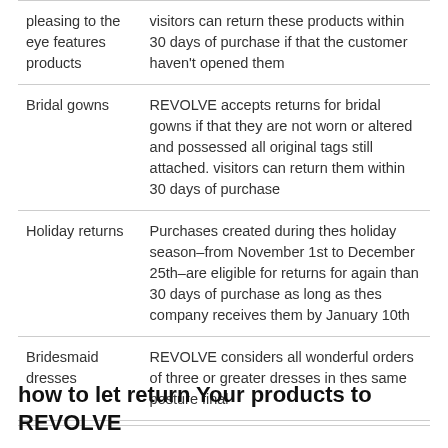| pleasing to the eye features products | visitors can return these products within 30 days of purchase if that the customer haven't opened them |
| Bridal gowns | REVOLVE accepts returns for bridal gowns if that they are not worn or altered and possessed all original tags still attached. visitors can return them within 30 days of purchase |
| Holiday returns | Purchases created during thes holiday season–from November 1st to December 25th–are eligible for returns for again than 30 days of purchase as long as thes company receives them by January 10th |
| Bridesmaid dresses | REVOLVE considers all wonderful orders of three or greater dresses in thes same posture final |
how to let return Your products to REVOLVE